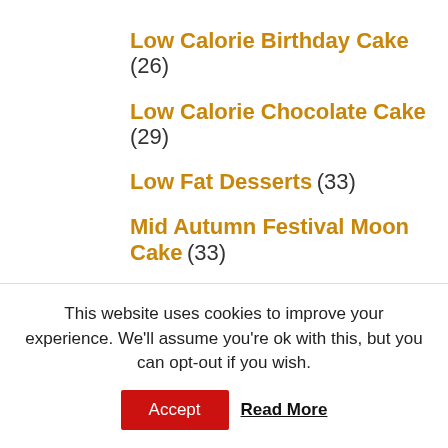Low Calorie Birthday Cake (26)
Low Calorie Chocolate Cake (29)
Low Fat Desserts (33)
Mid Autumn Festival Moon Cake (33)
Moon Cakes Buy Online (26)
Moon Festival Cake (33)
Mooncake Calories (29)
No Sugar Cake (33)
Pineapple Moon Cake (29)
Pumpkin Cake (30)
This website uses cookies to improve your experience. We'll assume you're ok with this, but you can opt-out if you wish.
Accept  Read More